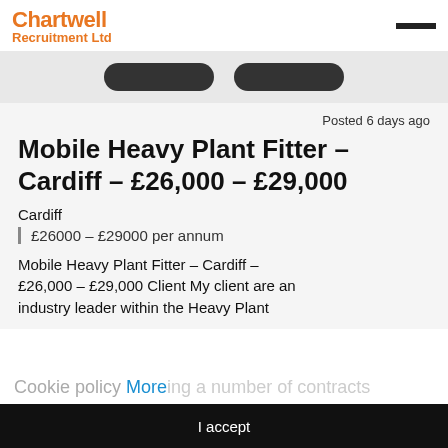Chartwell Recruitment Ltd
[Figure (screenshot): Two dark pill-shaped buttons in a grey bar]
Posted 6 days ago
Mobile Heavy Plant Fitter – Cardiff – £26,000 – £29,000
Cardiff
£26000 – £29000 per annum
Mobile Heavy Plant Fitter – Cardiff – £26,000 – £29,000 Client My client are an industry leader within the Heavy Plant
Cookie policy More ing a number of contracts
I accept